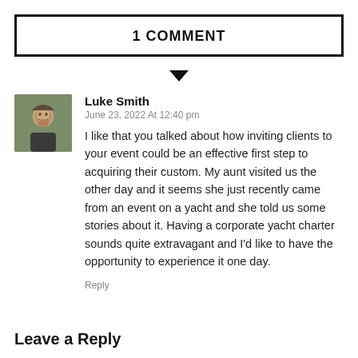1 COMMENT
Luke Smith
June 23, 2022 At 12:40 pm
I like that you talked about how inviting clients to your event could be an effective first step to acquiring their custom. My aunt visited us the other day and it seems she just recently came from an event on a yacht and she told us some stories about it. Having a corporate yacht charter sounds quite extravagant and I'd like to have the opportunity to experience it one day.
Reply
Leave a Reply